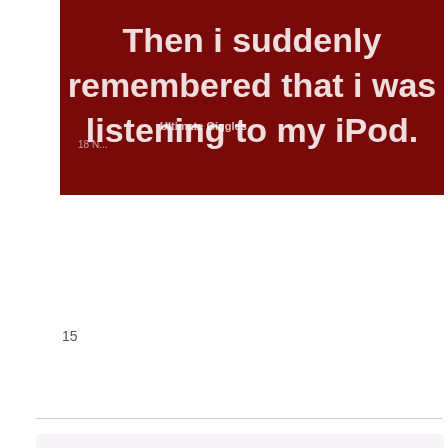[Figure (screenshot): Dark red background image with bold white text reading 'Then i suddenly remembered that i was listening to my iPod.' with 'Ultimate Giggles' watermark overlay]
15
arpie
Mid North Coast, NSW  Member
Posts: 6,160  ★
October 2018
Hmmm .... not so sure about THIS one tho!!
[Figure (screenshot): Black background image with green/yellow text beginning 'After 15 years of Marriage']